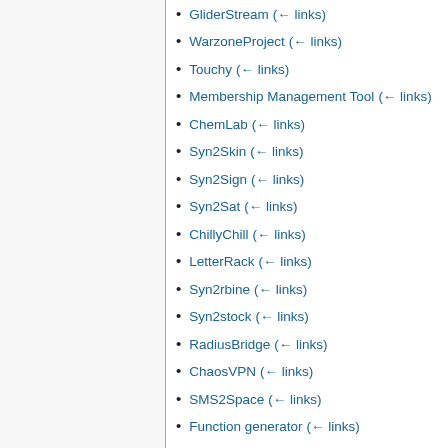GliderStream (← links)
WarzoneProject (← links)
Touchy (← links)
Membership Management Tool (← links)
ChemLab (← links)
Syn2Skin (← links)
Syn2Sign (← links)
Syn2Sat (← links)
ChillyChill (← links)
LetterRack (← links)
Syn2rbine (← links)
Syn2stock (← links)
RadiusBridge (← links)
ChaosVPN (← links)
SMS2Space (← links)
Function generator (← links)
Electr-O-Mat (← links)
MwRegExt (← links)
Pentium2Atari (← links)
Christmas Face (← links)
Blinkentree (← links)
Blinkentree DE (← links)